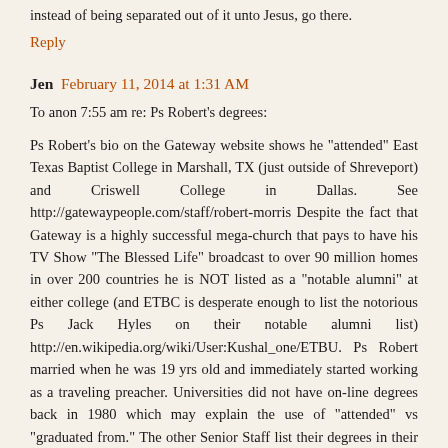instead of being separated out of it unto Jesus, go there.
Reply
Jen  February 11, 2014 at 1:31 AM
To anon 7:55 am re: Ps Robert's degrees:
Ps Robert's bio on the Gateway website shows he "attended" East Texas Baptist College in Marshall, TX (just outside of Shreveport) and Criswell College in Dallas. See http://gatewaypeople.com/staff/robert-morris Despite the fact that Gateway is a highly successful mega-church that pays to have his TV Show "The Blessed Life" broadcast to over 90 million homes in over 200 countries he is NOT listed as a "notable alumni" at either college (and ETBC is desperate enough to list the notorious Ps Jack Hyles on their notable alumni list) http://en.wikipedia.org/wiki/User:Kushal_one/ETBU. Ps Robert married when he was 19 yrs old and immediately started working as a traveling preacher. Universities did not have on-line degrees back in 1980 which may explain the use of "attended" vs "graduated from." The other Senior Staff list their degrees in their bios (the ones who have degrees).